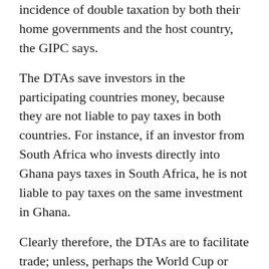incidence of double taxation by both their home governments and the host country, the GIPC says.
The DTAs save investors in the participating countries money, because they are not liable to pay taxes in both countries. For instance, if an investor from South Africa who invests directly into Ghana pays taxes in South Africa, he is not liable to pay taxes on the same investment in Ghana.
Clearly therefore, the DTAs are to facilitate trade; unless, perhaps the World Cup or international football competitions also fall into the category of trade and investment.